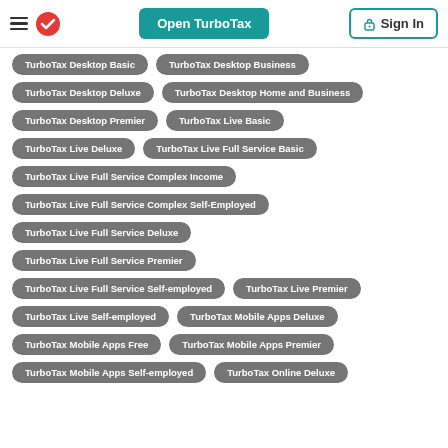Open TurboTax | Sign In
TurboTax Desktop Basic
TurboTax Desktop Business
TurboTax Desktop Deluxe
TurboTax Desktop Home and Business
TurboTax Desktop Premier
TurboTax Live Basic
TurboTax Live Deluxe
TurboTax Live Full Service Basic
TurboTax Live Full Service Complex Income
TurboTax Live Full Service Complex Self-Employed
TurboTax Live Full Service Deluxe
TurboTax Live Full Service Premier
TurboTax Live Full Service Self-employed
TurboTax Live Premier
TurboTax Live Self-employed
TurboTax Mobile Apps Deluxe
TurboTax Mobile Apps Free
TurboTax Mobile Apps Premier
TurboTax Mobile Apps Self-employed
TurboTax Online Deluxe